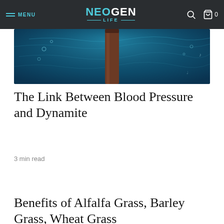MENU | NEOGEN LIFE | (search) (cart) 0
[Figure (photo): Hero image showing a dark teal underwater scene with a brown cylindrical object (bottle) in the center]
The Link Between Blood Pressure and Dynamite
3 min read
Benefits of Alfalfa Grass, Barley Grass, Wheat Grass